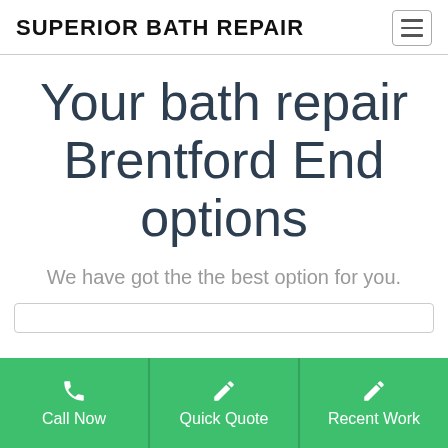SUPERIOR BATH REPAIR
Your bath repair Brentford End options
We have got the the best option for you.
[Figure (other): Search input box area]
Call Now
Quick Quote
Recent Work